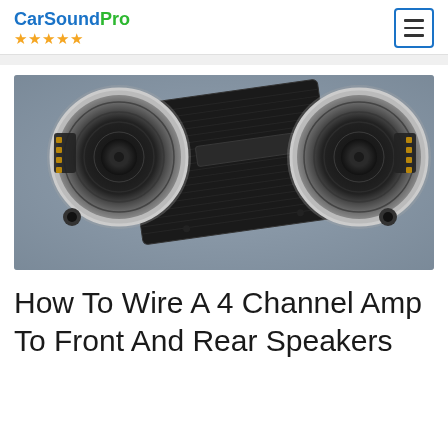CarSoundPro ★★★★★
[Figure (photo): Two car speakers and a black 4-channel amplifier laid out on a gray surface, photographed from above.]
How To Wire A 4 Channel Amp To Front And Rear Speakers